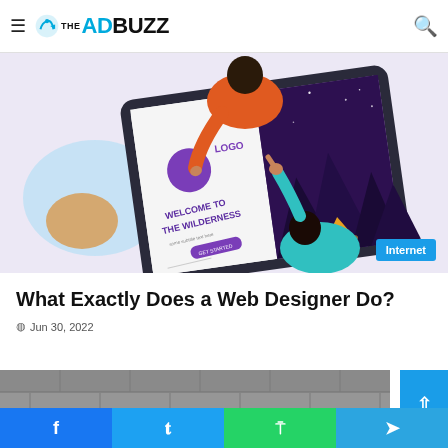THE AD BUZZ — navigation bar with hamburger menu and search icon
[Figure (illustration): Illustration of three people working around a tablet/screen showing a web design mockup with 'WELCOME TO THE WILDERNESS' text, a logo circle, and a mountain night scene. Internet badge in bottom right.]
What Exactly Does a Web Designer Do?
Jun 30, 2022
[Figure (photo): Partial photo of brick/stone wall texture, cropped at bottom]
Social share buttons: Facebook, Twitter, WhatsApp, Telegram